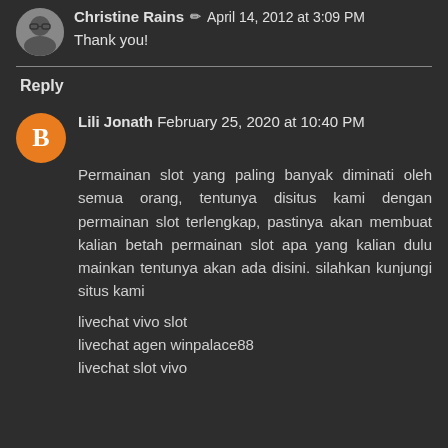Christine Rains ✏ April 14, 2012 at 3:09 PM
Thank you!
Reply
Lili Jonath February 25, 2020 at 10:40 PM
Permainan slot yang paling banyak diminati oleh semua orang, tentunya disitus kami dengan permainan slot terlengkap, pastinya akan membuat kalian betah permainan slot apa yang kalian dulu mainkan tentunya akan ada disini. silahkan kunjungi situs kami
livechat vivo slot
livechat agen winpalace88
livechat slot vivo